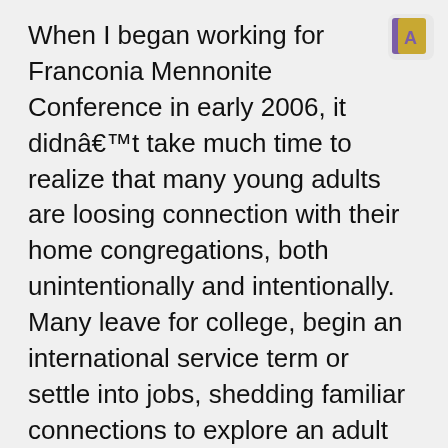[Figure (logo): Small app icon with purple book and letter A on yellow background]
When I began working for Franconia Mennonite Conference in early 2006, it didnâ€™t take much time to realize that many young adults are loosing connection with their home congregations, both unintentionally and intentionally. Many leave for college, begin an international service term or settle into jobs, shedding familiar connections to explore an adult role within their surrounding community.
As a young adult often feeling this same disconnect, my curiosity was sparked to investigate the situation. Though much has been presumptuously stated about why